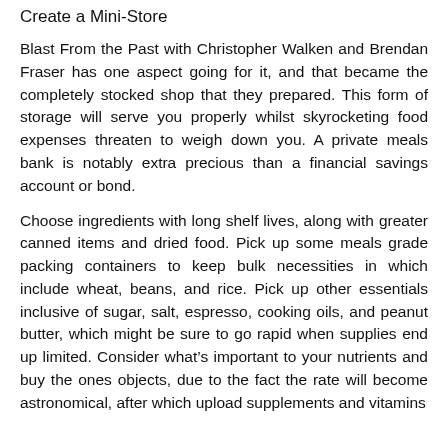Create a Mini-Store
Blast From the Past with Christopher Walken and Brendan Fraser has one aspect going for it, and that became the completely stocked shop that they prepared. This form of storage will serve you properly whilst skyrocketing food expenses threaten to weigh down you. A private meals bank is notably extra precious than a financial savings account or bond.
Choose ingredients with long shelf lives, along with greater canned items and dried food. Pick up some meals grade packing containers to keep bulk necessities in which include wheat, beans, and rice. Pick up other essentials inclusive of sugar, salt, espresso, cooking oils, and peanut butter, which might be sure to go rapid when supplies end up limited. Consider what’s important to your nutrients and buy the ones objects, due to the fact the rate will become astronomical, after which upload supplements and vitamins